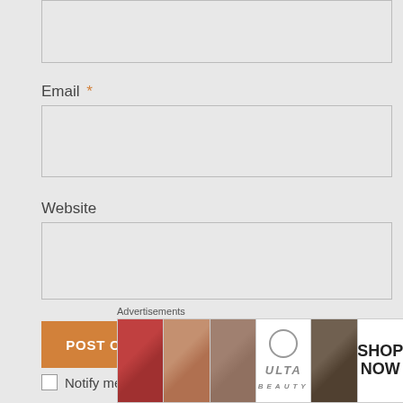[Figure (screenshot): Partial top of a comment form input box (cut off at top of page)]
Email *
[Figure (screenshot): Email text input field]
Website
[Figure (screenshot): Website text input field]
[Figure (screenshot): POST COMMENT button in orange]
Notify me of new comments via email
[Figure (screenshot): Close (X) button circle top right]
Advertisements
[Figure (screenshot): Ulta Beauty advertisement banner with makeup imagery, SHOP NOW text]